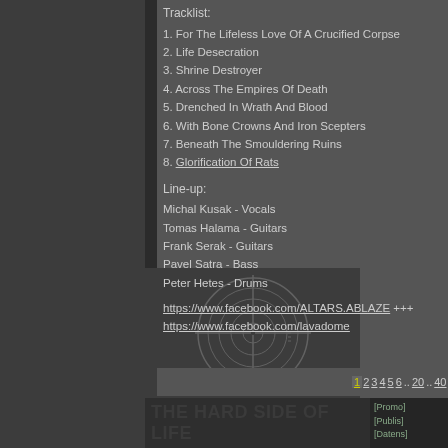Tracklist:
1. For The Lifeless Love Of A Crucified Corpse
2. Life Desecration
3. Shrine Destroyer
4. Across The Empires Of Death
5. Drenched In Wrath And Blood
6. With Bone Crowns And Iron Scepters
7. Beneath The Smouldering Ruins
8. Glorification Of Rats
Line-up:
Michal Kusak - Vocals
Tomas Halama - Guitars
Frank Serak - Guitars
Pavel Satra - Bass
Peter Hetes - Drums
https://www.facebook.com/ALTARS.ABLAZE +++ https://www.facebook.com/lavadome
1 2 3 4 5 6 .. 20 .. 40 .. 51  weitere
[Figure (illustration): Crosshair/target circle logo illustration]
THE HARD SIDE OF LIFE
[Promo] [Publis] [Datens]